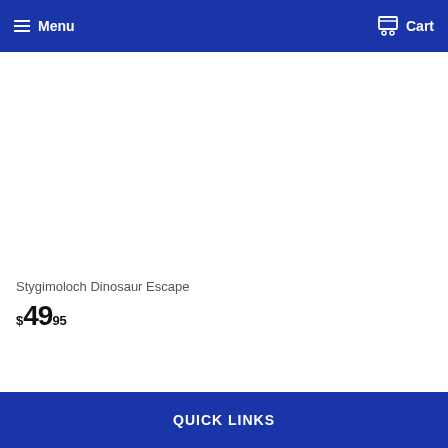Menu  Cart
Stygimoloch Dinosaur Escape
$49.95
QUICK LINKS